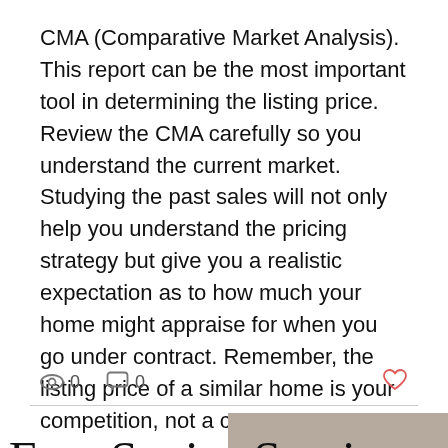CMA (Comparative Market Analysis). This report can be the most important tool in determining the listing price. Review the CMA carefully so you understand the current market. Studying the past sales will not only help you understand the pricing strategy but give you a realistic expectation as to how much your home might appraise for when you go under contract. Remember, the listing price of a similar home is your competition, not a com
[Figure (screenshot): Interaction bar with eye/view icon showing 0 views, comment icon showing 0 comments, and a heart/like icon on the right]
[Figure (infographic): Free Senior Seminars promotional graphic with cursive script title over a taupe background on the right side, and a photo of people outdoors under trees below]